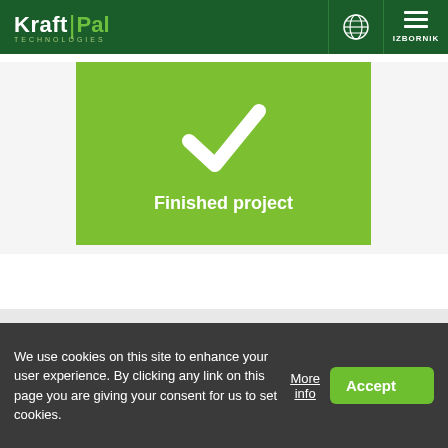KraftPal Technologies — IZBORNIK
[Figure (illustration): Green card with white checkmark and text 'Finished project']
Licensed Turnkey Factory
We use cookies on this site to enhance your user experience. By clicking any link on this page you are giving your consent for us to set cookies.
More info
Accept